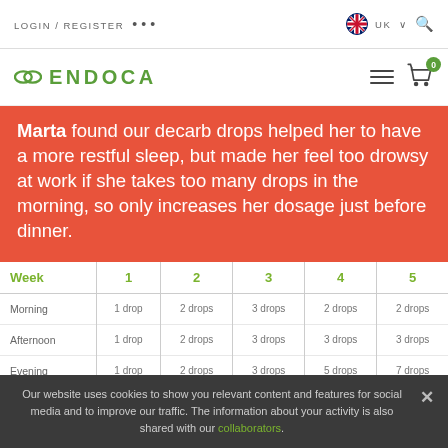LOGIN / REGISTER ... UK
[Figure (logo): Endoca logo with stylized leaf icon and green text ENDOCA, hamburger menu icon, shopping cart with badge 0]
Marta found our decarb drops helped her to have a more restful sleep, but made her feel too drowsy at work if she takes too many drops in the morning, so only increases her dosage just before dinner.
| Week | 1 | 2 | 3 | 4 | 5 |
| --- | --- | --- | --- | --- | --- |
| Morning | 1 drop | 2 drops | 3 drops | 2 drops | 2 drops |
| Afternoon | 1 drop | 2 drops | 3 drops | 3 drops | 3 drops |
| Evening | 1 drop | 2 drops | 3 drops | 5 drops | 7 drops |
Our website uses cookies to show you relevant content and features for social media and to improve our traffic. The information about your activity is also shared with our collaborators.